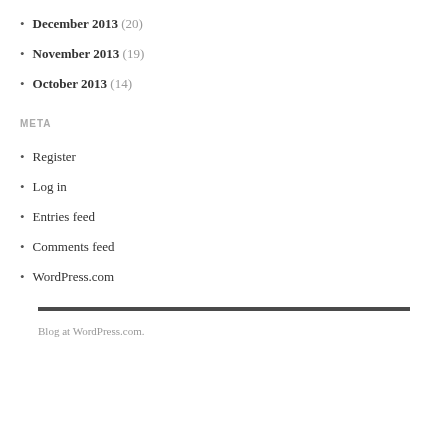December 2013 (20)
November 2013 (19)
October 2013 (14)
META
Register
Log in
Entries feed
Comments feed
WordPress.com
Blog at WordPress.com.